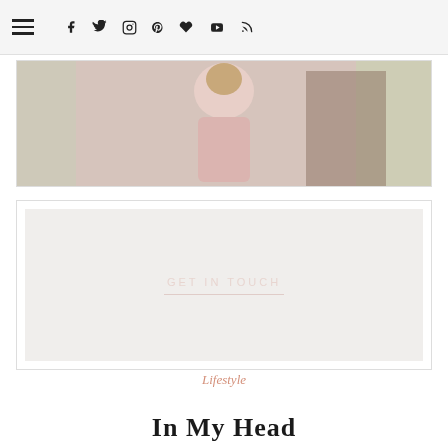Navigation bar with hamburger menu and social icons: Facebook, Twitter, Instagram, Pinterest, heart, YouTube, RSS
[Figure (photo): A woman wearing a pink long-sleeve top standing outdoors near a wooden door with greenery in the background]
[Figure (other): A light grey banner image with 'GET IN TOUCH' text centered with a thin underline]
Lifestyle
In My Head